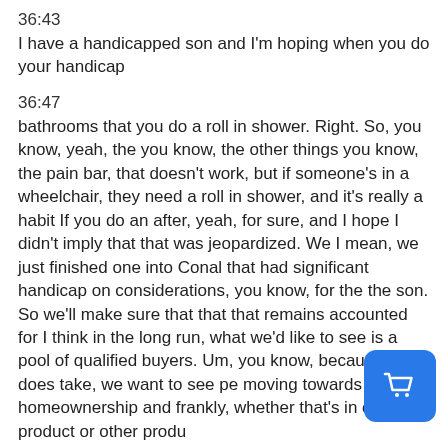36:43
I have a handicapped son and I'm hoping when you do your handicap
36:47
bathrooms that you do a roll in shower. Right. So, you know, yeah, the you know, the other things you know, the pain bar, that doesn't work, but if someone's in a wheelchair, they need a roll in shower, and it's really a habit If you do an after, yeah, for sure, and I hope I didn't imply that that was jeopardized. We I mean, we just finished one into Conal that had significant handicap on considerations, you know, for the the son. So we'll make sure that that that remains accounted for I think in the long run, what we'd like to see is a pool of qualified buyers. Um, you know, because it does take, we want to see pe moving towards homeownership and frankly, whether that's in our product or other produ
[Figure (other): Blue shopping cart button icon in the bottom right corner]